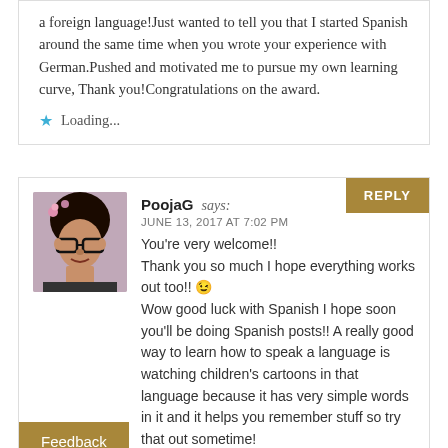a foreign language!Just wanted to tell you that I started Spanish around the same time when you wrote your experience with German.Pushed and motivated me to pursue my own learning curve, Thank you!Congratulations on the award.
Loading...
PoojaG says: JUNE 13, 2017 AT 7:02 PM
You're very welcome!! Thank you so much I hope everything works out too!! 😉 Wow good luck with Spanish I hope soon you'll be doing Spanish posts!! A really good way to learn how to speak a language is watching children's cartoons in that language because it has very simple words in it and it helps you remember stuff so try that out sometime!